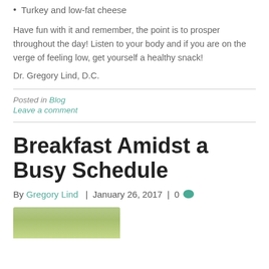Turkey and low-fat cheese
Have fun with it and remember, the point is to prosper throughout the day! Listen to your body and if you are on the verge of feeling low, get yourself a healthy snack!
Dr. Gregory Lind, D.C.
Posted in Blog
Leave a comment
Breakfast Amidst a Busy Schedule
By Gregory Lind | January 26, 2017 | 0
[Figure (photo): Green bowl or plate, cropped at bottom of page]